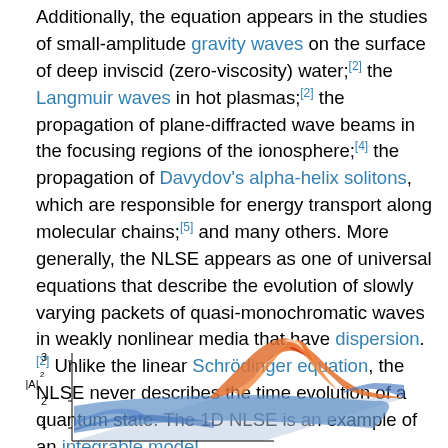Additionally, the equation appears in the studies of small-amplitude gravity waves on the surface of deep inviscid (zero-viscosity) water;[2] the Langmuir waves in hot plasmas;[2] the propagation of plane-diffracted wave beams in the focusing regions of the ionosphere;[4] the propagation of Davydov's alpha-helix solitons, which are responsible for energy transport along molecular chains;[5] and many others. More generally, the NLSE appears as one of universal equations that describe the evolution of slowly varying packets of quasi-monochromatic waves in weakly nonlinear media that have dispersion.[2] Unlike the linear Schrödinger equation, the NLSE never describes the time evolution of a quantum state. The 1D NLSE is an example of an integrable model.
[Figure (other): 3D surface plot of |A|^2 showing soliton wave packet, with axes labeled |A|^2 (vertical, values 1-3) and spatial/temporal dimensions. The surface shows peaks in orange/red and troughs in blue.]